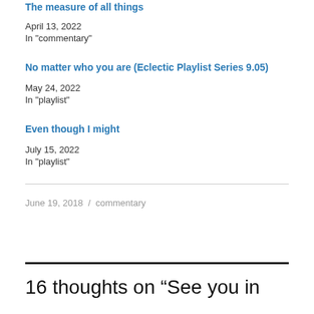The measure of all things
April 13, 2022
In "commentary"
No matter who you are (Eclectic Playlist Series 9.05)
May 24, 2022
In "playlist"
Even though I might
July 15, 2022
In "playlist"
June 19, 2018 / commentary
16 thoughts on “See you in